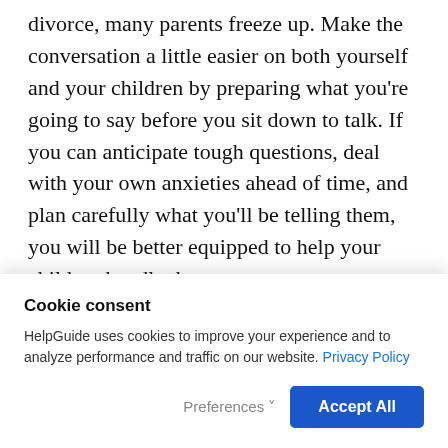divorce, many parents freeze up. Make the conversation a little easier on both yourself and your children by preparing what you're going to say before you sit down to talk. If you can anticipate tough questions, deal with your own anxieties ahead of time, and plan carefully what you'll be telling them, you will be better equipped to help your children handle the news.
What to say and how to say it
Difficult as it may be, try to strike an empathetic
Cookie consent
HelpGuide uses cookies to improve your experience and to analyze performance and traffic on our website. Privacy Policy
Preferences
Accept All